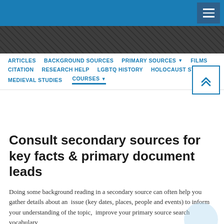[Figure (screenshot): Blue top navigation bar with hamburger menu icon on the right]
[Figure (photo): Dark textured banner below the top navigation bar]
ARTICLES   BACKGROUND SOURCES   PRIMARY SOURCES ▼   FILMS   CITATION   RESEARCH HELP   LGBTQ HISTORY   HOLOCAUST STUDIES   MEDIEVAL STUDIES   COURSES ▼
Consult secondary sources for key facts & primary document leads
Doing some background reading in a secondary source can often help you gather details about an issue (key dates, places, people and events) to inform your understanding of the topic, improve your primary source search vocabulary